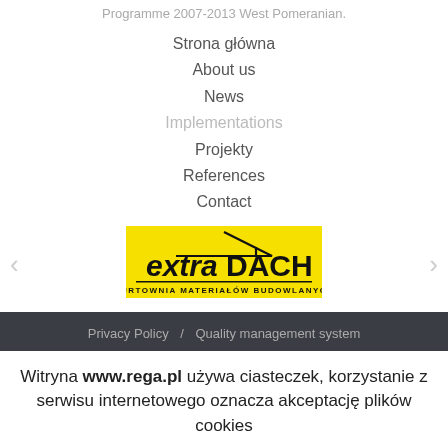Programme 2007-2013 West Pomeranian.
Strona główna
About us
News
Implementations
Projekty
References
Contact
[Figure (logo): extraDACH logo — yellow background with bold text 'extraDACH' and subtitle 'HURTOWNIA MATERIAŁÓW BUDOWLANYCH']
Privacy Policy / Quality management system
Witryna www.rega.pl używa ciasteczek, korzystanie z serwisu internetowego oznacza akceptację plików cookies
Akceptuję   Czytaj więcej